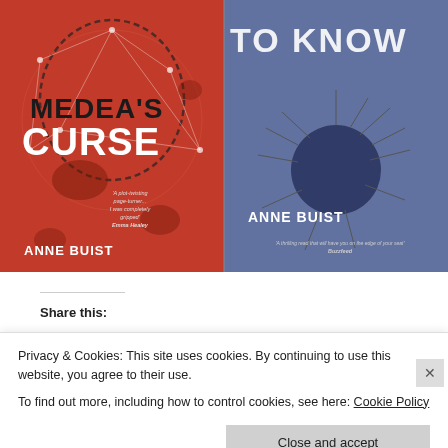[Figure (photo): Two book covers side by side: Left cover is red/orange showing 'Medea's Curse' by Anne Buist with a network/brain graphic and quote from Emma Healey. Right cover is blue/purple showing 'Dangerous To Know' by Anne Buist with a heart pierced by pins and a quote from Buzzfeed.]
Share this:
Privacy & Cookies: This site uses cookies. By continuing to use this website, you agree to their use.
To find out more, including how to control cookies, see here: Cookie Policy
Close and accept